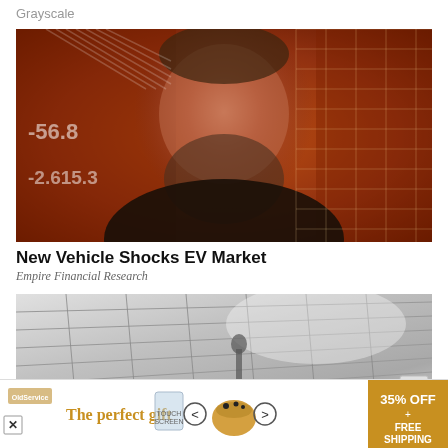Grayscale
[Figure (photo): Man with beard and short gray-brown hair, on orange financial chart background with stock ticker numbers (-56.8, -2.615.3)]
New Vehicle Shocks EV Market
Empire Financial Research
[Figure (photo): Solar panels close-up with a person partially visible, advertisement image]
[Figure (infographic): Bottom banner advertisement: The perfect gift, 35% OFF + FREE SHIPPING, with food/gift imagery and navigation arrows]